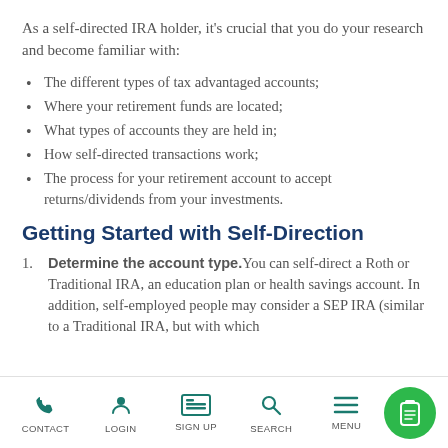As a self-directed IRA holder, it's crucial that you do your research and become familiar with:
The different types of tax advantaged accounts;
Where your retirement funds are located;
What types of accounts they are held in;
How self-directed transactions work;
The process for your retirement account to accept returns/dividends from your investments.
Getting Started with Self-Direction
Determine the account type. You can self-direct a Roth or Traditional IRA, an education plan or health savings account. In addition, self-employed people may consider a SEP IRA (similar to a Traditional IRA but with which...
CONTACT  LOGIN  SIGN UP  SEARCH  MENU